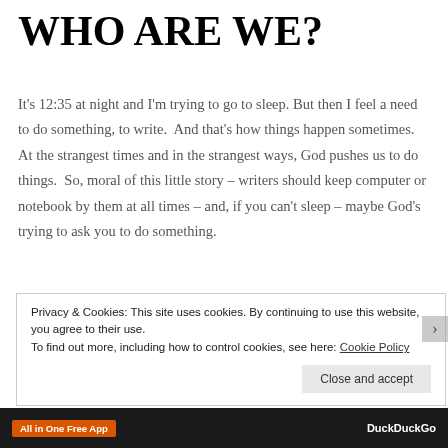WHO ARE WE?
It's 12:35 at night and I'm trying to go to sleep. But then I feel a need to do something, to write.  And that's how things happen sometimes. At the strangest times and in the strangest ways, God pushes us to do things.  So, moral of this little story – writers should keep computer or notebook by them at all times – and, if you can't sleep – maybe God's trying to ask you to do something.
Anyway, this post is a bit different than what I usually write.
Privacy & Cookies: This site uses cookies. By continuing to use this website, you agree to their use.
To find out more, including how to control cookies, see here: Cookie Policy
Close and accept
All in One Free App   DuckDuckGo